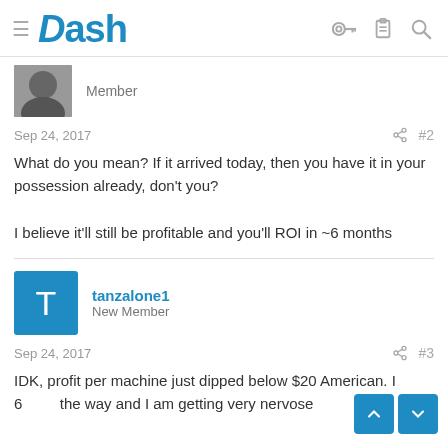Dash
Member
Sep 24, 2017  #2
What do you mean? If it arrived today, then you have it in your possession already, don't you?

I believe it'll still be profitable and you'll ROI in ~6 months
tanzalone1
New Member
Sep 24, 2017  #3
IDK, profit per machine just dipped below $20 American. I ... 6 ... the way and I am getting very nervose